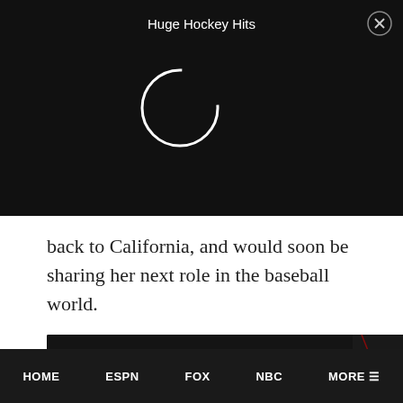[Figure (screenshot): Black video overlay bar with 'Huge Hockey Hits' title, a spinner loading circle, and a close (X) button in the top right corner]
back to California, and would soon be sharing her next role in the baseball world.
[Figure (infographic): SI Tickets advertisement: dark background with football player wearing #27 jersey. Text reads: 'SI TICKETS', 'NO HIDDEN FEES. NO SURPRISES.', '$10 FLAT FEE', 'ON ANY PURCHASE ANY WAY YOU PAY', 'SPEND $300 OR $3,000 IT'S STILL JUST $10', red 'GET TICKETS' button]
HOME   ESPN   FOX   NBC   MORE ≡